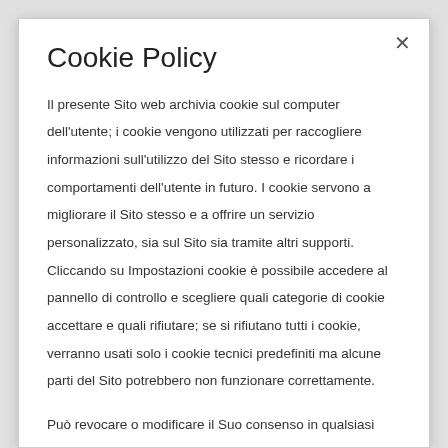Cookie Policy
Il presente Sito web archivia cookie sul computer dell'utente; i cookie vengono utilizzati per raccogliere informazioni sull'utilizzo del Sito stesso e ricordare i comportamenti dell'utente in futuro. I cookie servono a migliorare il Sito stesso e a offrire un servizio personalizzato, sia sul Sito sia tramite altri supporti. Cliccando su Impostazioni cookie è possibile accedere al pannello di controllo e scegliere quali categorie di cookie accettare e quali rifiutare; se si rifiutano tutti i cookie, verranno usati solo i cookie tecnici predefiniti ma alcune parti del Sito potrebbero non funzionare correttamente.
Può revocare o modificare il Suo consenso in qualsiasi